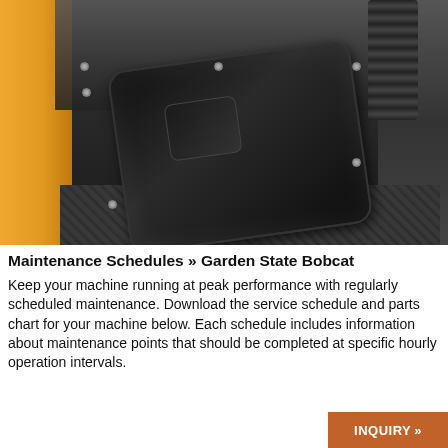[Figure (photo): Close-up photo of a Bobcat machine's black access panel/cover mounted on the machine body, with a yellow painted side panel on the left, black coiled spring/suspension components in the upper right, plastic coverings at the top, and textured floor/ground visible at the bottom right. The black panel has a recessed rectangular handle area and several bolts/screws visible.]
Maintenance Schedules » Garden State Bobcat
Keep your machine running at peak performance with regularly scheduled maintenance. Download the service schedule and parts chart for your machine below. Each schedule includes information about maintenance points that should be completed at specific hourly operation intervals.